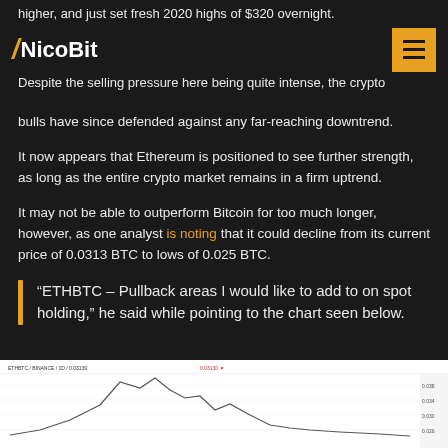higher, and just set fresh 2020 highs of $320 overnight.
NicoBit
Despite the selling pressure here being quite intense, the crypto bulls have since defended against any far-reaching downtrend.
It now appears that Ethereum is positioned to see further strength, as long as the entire crypto market remains in a firm uptrend.
It may not be able to outperform Bitcoin for too much longer, however, as one analyst is noting that it could decline from its current price of 0.0313 BTC to lows of 0.025 BTC.
“ETHBTC – Pullback areas I would like to add to on spot holding,” he said while pointing to the chart seen below.
[Figure (screenshot): Cryptocurrency chart showing ETHBTC price action with candlestick patterns, displaying a peak followed by a downtrend.]